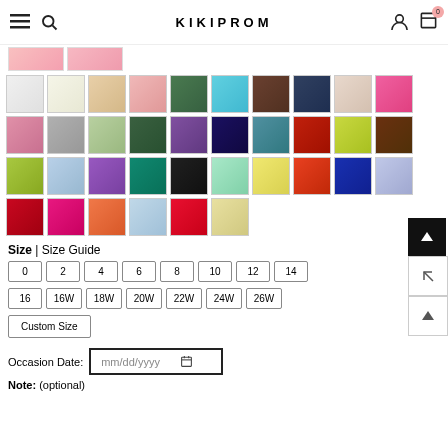KIKIPROM
[Figure (screenshot): Grid of fabric color swatches for dress selection, showing approximately 46 color options across 4 rows including white, ivory, champagne, pink, green, teal, brown, navy, blush, hot pink, mauve, silver, sage, hunter green, purple, navy, teal, red, yellow-green, brown, lime green, light blue, lavender, emerald, black, mint, yellow, orange-red, royal blue, periwinkle, red, fuchsia, orange, light blue, watermelon, champagne]
Size | Size Guide
0
2
4
6
8
10
12
14
16
16W
18W
20W
22W
24W
26W
Custom Size
Occasion Date: mm/dd/yyyy
Note: (optional)